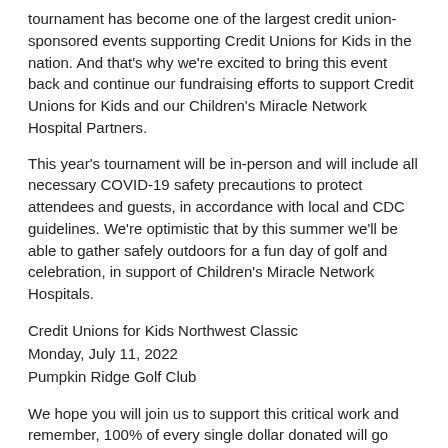tournament has become one of the largest credit union-sponsored events supporting Credit Unions for Kids in the nation. And that's why we're excited to bring this event back and continue our fundraising efforts to support Credit Unions for Kids and our Children's Miracle Network Hospital Partners.
This year's tournament will be in-person and will include all necessary COVID-19 safety precautions to protect attendees and guests, in accordance with local and CDC guidelines. We're optimistic that by this summer we'll be able to gather safely outdoors for a fun day of golf and celebration, in support of Children's Miracle Network Hospitals.
Credit Unions for Kids Northwest Classic
Monday, July 11, 2022
Pumpkin Ridge Golf Club
We hope you will join us to support this critical work and remember, 100% of every single dollar donated will go directly to our hospital partners, with all fundraising expenses covered by First Tech.
We look forward to seeing you on the course in July!